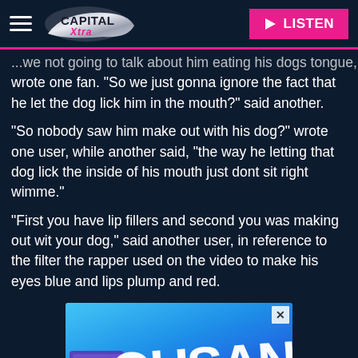Capital Xtra | LISTEN
...we not going to talk about him eating his dogs tongue, wrote one fan. "So we just gonna ignore the fact that he let the dog lick him in the mouth?" said another.
"So nobody saw him make out with his dog?" wrote one user, while another said, "the way he letting that dog lick the inside of his mouth just dont sit right wimme."
"First you have lip fillers and second you was making out wit your dog," said another user, in reference to the filter the rapper used on the video to make his eyes blue and lips plump and red.
[Figure (other): Advertisement banner with blue gradient background and large white text reading 'OUSANDS']